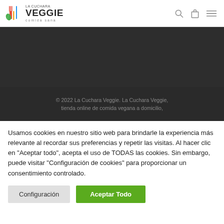[Figure (logo): La Cuchara Veggie logo with colorful utensils icon and text 'LA CUCHARA VEGGIE comida sana']
[Figure (photo): Dark gray/black banner area (website hero section, content obscured)]
© 2022 La Cuchara Veggie. La Cuchara Veggie, tienda online de comida vegana a domicilio,
Usamos cookies en nuestro sitio web para brindarle la experiencia más relevante al recordar sus preferencias y repetir las visitas. Al hacer clic en "Aceptar todo", acepta el uso de TODAS las cookies. Sin embargo, puede visitar "Configuración de cookies" para proporcionar un consentimiento controlado.